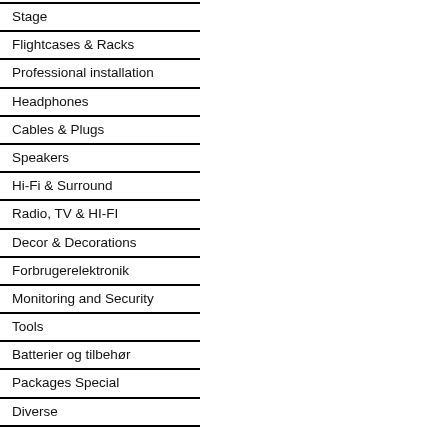Stage
Flightcases & Racks
Professional installation
Headphones
Cables & Plugs
Speakers
Hi-Fi & Surround
Radio, TV & HI-FI
Decor & Decorations
Forbrugerelektronik
Monitoring and Security
Tools
Batterier og tilbehør
Packages Special
Diverse